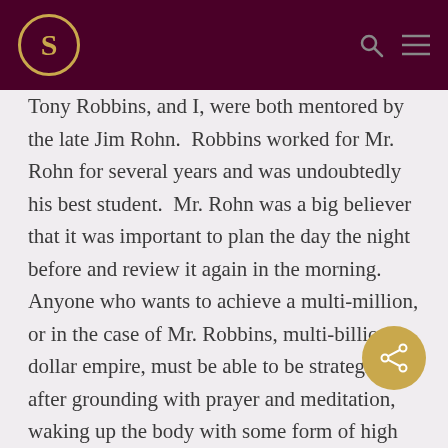S [logo]
Tony Robbins, and I, were both mentored by the late Jim Rohn.  Robbins worked for Mr. Rohn for several years and was undoubtedly his best student.  Mr. Rohn was a big believer that it was important to plan the day the night before and review it again in the morning.  Anyone who wants to achieve a multi-million, or in the case of Mr. Robbins, multi-billion-dollar empire, must be able to be strategic and after grounding with prayer and meditation, waking up the body with some form of high nutrient food, and getting a workout in, the brain is operating at optimal.
This is always a time of clear